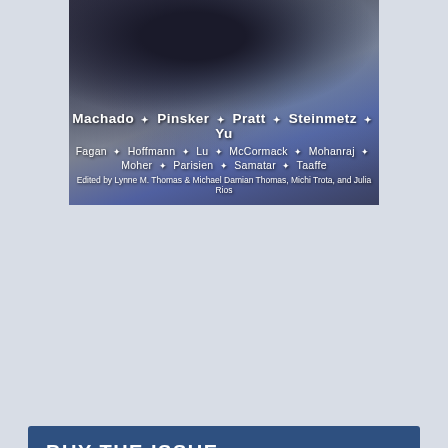[Figure (illustration): Dark fantasy book cover or magazine cover image showing a dragon silhouette against a blue-gray background, with author names and editor credits overlaid in white text]
BUY THE ISSUE ▴
[Figure (illustration): Advertisement for 'The Library of the Dead' by T.L. Huchu showing a teal/dark book cover with the tagline 'When ghosts talk, she will listen.' and a BUY NOW call to action]